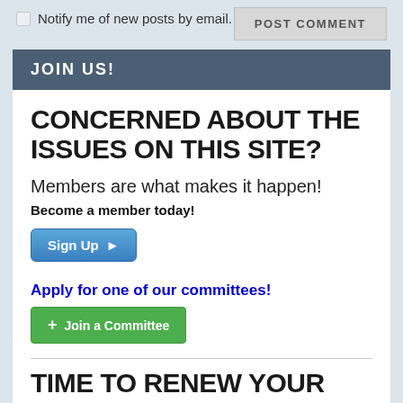Notify me of new posts by email.
POST COMMENT
JOIN US!
CONCERNED ABOUT THE ISSUES ON THIS SITE?
Members are what makes it happen!
Become a member today!
[Figure (screenshot): Sign Up button with arrow]
Apply for one of our committees!
[Figure (screenshot): Join a Committee green button with plus icon]
TIME TO RENEW YOUR MEMBERSHIP?